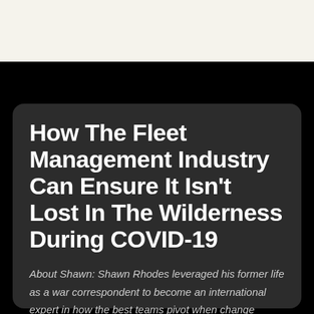How The Fleet Management Industry Can Ensure It Isn't Lost In The Wilderness During COVID-19
About Shawn: Shawn Rhodes leveraged his former life as a war correspondent to become an international expert in how the best teams pivot when change enters